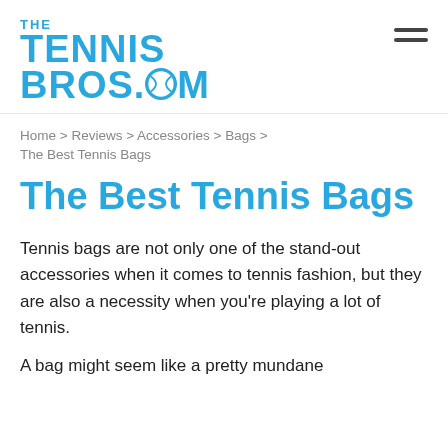[Figure (logo): The Tennis Bros.com logo in blue with a tennis ball replacing the O in COM]
Home > Reviews > Accessories > Bags > The Best Tennis Bags
The Best Tennis Bags
Tennis bags are not only one of the stand-out accessories when it comes to tennis fashion, but they are also a necessity when you're playing a lot of tennis.
A bag might seem like a pretty mundane